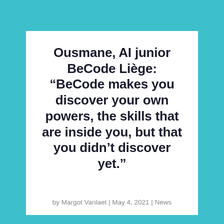Ousmane, AI junior BeCode Liège: “BeCode makes you discover your own powers, the skills that are inside you, but that you didn’t discover yet.”
by Margot Vanlaet | May 4, 2021 | News